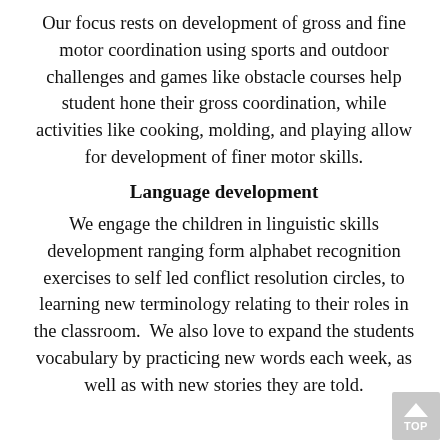Our focus rests on development of gross and fine motor coordination using sports and outdoor challenges and games like obstacle courses help student hone their gross coordination, while activities like cooking, molding, and playing allow for development of finer motor skills.
Language development
We engage the children in linguistic skills development ranging form alphabet recognition exercises to self led conflict resolution circles, to learning new terminology relating to their roles in the classroom.  We also love to expand the students vocabulary by practicing new words each week, as well as with new stories they are told.